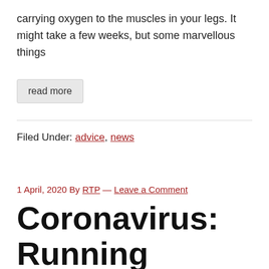carrying oxygen to the muscles in your legs. It might take a few weeks, but some marvellous things
read more
Filed Under: advice, news
1 April, 2020 By RTP — Leave a Comment
Coronavirus: Running Training